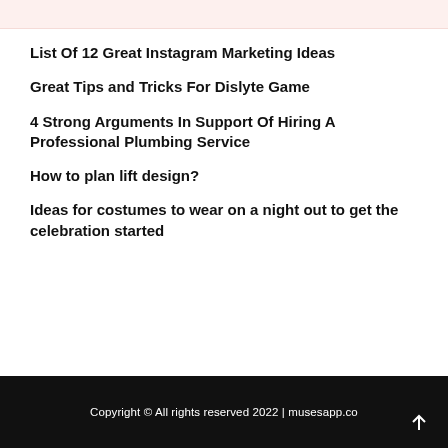List Of 12 Great Instagram Marketing Ideas
Great Tips and Tricks For Dislyte Game
4 Strong Arguments In Support Of Hiring A Professional Plumbing Service
How to plan lift design?
Ideas for costumes to wear on a night out to get the celebration started
Copyright © All rights reserved 2022 | musesapp.co